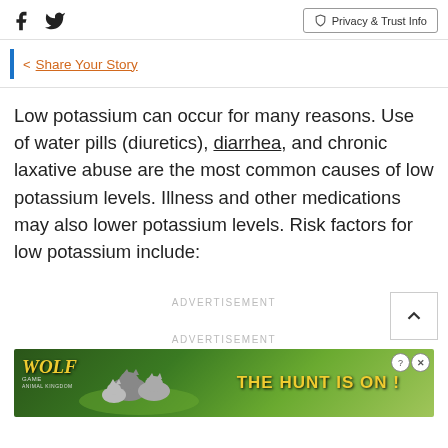Facebook Twitter | Privacy & Trust Info
< Share Your Story
Low potassium can occur for many reasons. Use of water pills (diuretics), diarrhea, and chronic laxative abuse are the most common causes of low potassium levels. Illness and other medications may also lower potassium levels. Risk factors for low potassium include:
ADVERTISEMENT
ADVERTISEMENT
[Figure (other): Wolf Game advertisement banner showing wolves with text 'THE HUNT IS ON!']